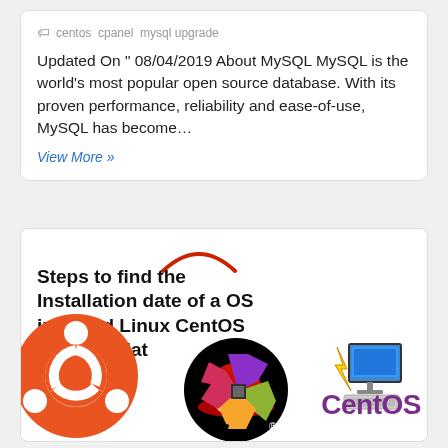centos cpanel mysql upgrade
Updated On " 08/04/2019 About MySQL MySQL is the world's most popular open source database. With its proven performance, reliability and ease-of-use, MySQL has become…
View More »
[Figure (illustration): Red curved arc decoration above title]
Steps to find the Installation date of a OS installed Linux CentOS and Red Hat
[Figure (logo): Ubuntu orange circle logo with circle of friends symbol]
[Figure (logo): Red Hat logo: black circle with red hat and face silhouette]
[Figure (illustration): Computer monitor with lightning bolt icon]
[Figure (logo): CentOS flower/gear logo with four colored quadrants: purple, green, gold, magenta]
CentOS